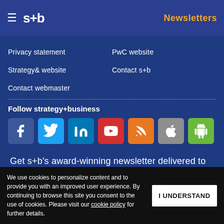s+b  Newsletters
Privacy statement
PwC website
Strategy& website
Contact s+b
Contact webmaster
Follow strategy+business
[Figure (infographic): Social media icons: Facebook, Twitter, LinkedIn, YouTube, RSS, Apple, Android]
Get s+b's award-winning newsletter delivered to your inbox.
We use cookies to personalize content and to provide you with an improved user experience. By continuing to browse this site you consent to the use of cookies. Please visit our cookie policy for further details.